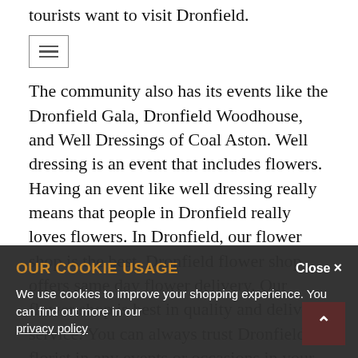tourists want to visit Dronfield.
The community also has its events like the Dronfield Gala, Dronfield Woodhouse, and Well Dressings of Coal Aston. Well dressing is an event that includes flowers. Having an event like well dressing really means that people in Dronfield really loves flowers. In Dronfield, our flower shop is the best. Dronfield flower shop offers same day flower delivery. Our flower shop is best in quality and delivery service. You can always trust Dronfield florist in any events or occasions in your life.
If you have a wedding ceremony in Dronfield, we have Sarah's Dronfield flower shop that offers variety of amazing flowers that match your wedding ceremony. You can view and select beautiful bouquet and arrangement of beautiful flowers in Dronfield flower
OUR COOKIE USAGE
We use cookies to improve your shopping experience. You can find out more in our privacy policy